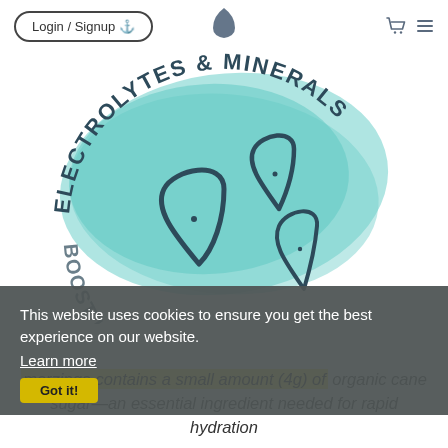Login / Signup
[Figure (illustration): Circular badge illustration with teal/turquoise brush strokes background and three water drop outlines in navy blue. Curved text around the badge reads 'ELECTROLYTES & MINERALS' at top and 'BOOST HYDRATION UP TO 3X' at bottom.]
This website uses cookies to ensure you get the best experience on our website.
Learn more
Got it!
morzinga contains a small amount (4g) of organic cane sugar—an essential ingredient needed for rapid hydration